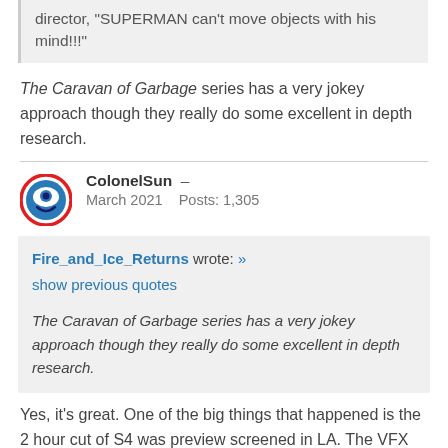director, "SUPERMAN can't move objects with his mind!!!"
The Caravan of Garbage series has a very jokey approach though they really do some excellent in depth research.
ColonelSun – March 2021 Posts: 1,305
Fire_and_Ice_Returns wrote: » show previous quotes

The Caravan of Garbage series has a very jokey approach though they really do some excellent in depth research.
Yes, it's great. One of the big things that happened is the 2 hour cut of S4 was preview screened in LA. The VFX were not